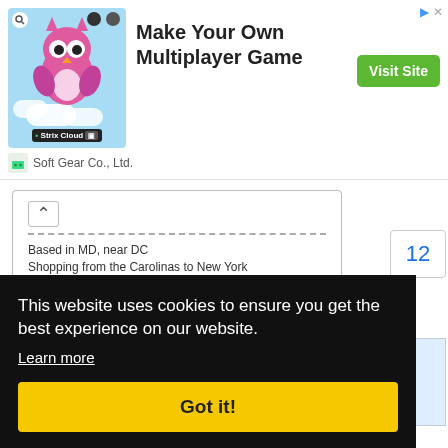[Figure (screenshot): Advertisement banner for Strix Cloud game platform. Shows a cartoon owl on a blue cloud background, text 'Make Your Own Multiplayer Game', a green 'Visit Site' button, and 'Soft Gear Co., Ltd.' footer.]
Based in MD, near DC
Shopping from the Carolinas to New York
Reply
Like This
12
This website uses cookies to ensure you get the best experience on our website.
Learn more
Got it!